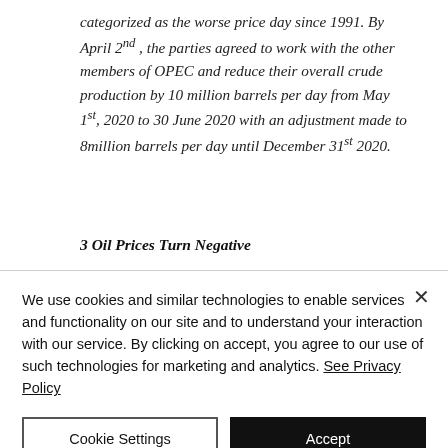categorized as the worse price day since 1991. By April 2nd, the parties agreed to work with the other members of OPEC and reduce their overall crude production by 10 million barrels per day from May 1st, 2020 to 30 June 2020 with an adjustment made to 8million barrels per day until December 31st 2020.
3  Oil Prices Turn Negative
We use cookies and similar technologies to enable services and functionality on our site and to understand your interaction with our service. By clicking on accept, you agree to our use of such technologies for marketing and analytics. See Privacy Policy